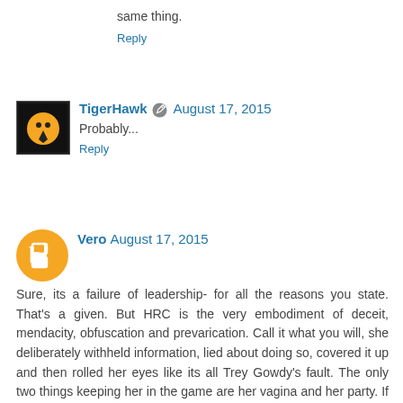same thing.
Reply
TigerHawk  August 17, 2015
Probably...
Reply
Vero  August 17, 2015
Sure, its a failure of leadership- for all the reasons you state. That's a given. But HRC is the very embodiment of deceit, mendacity, obfuscation and prevarication. Call it what you will, she deliberately withheld information, lied about doing so, covered it up and then rolled her eyes like its all Trey Gowdy's fault. The only two things keeping her in the game are her vagina and her party. If she were a Republican male, she'd be toast. And everyone knows it.
Reply